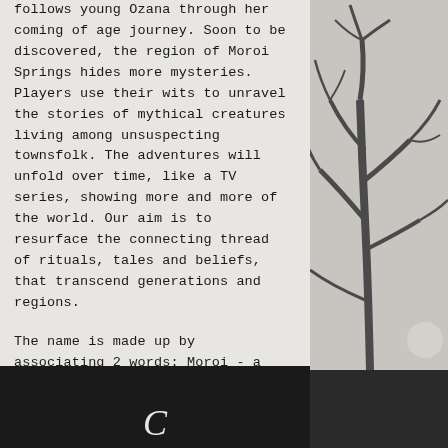follows young Ozana through her coming of age journey. Soon to be discovered, the region of Moroi Springs hides more mysteries. Players use their wits to unravel the stories of mythical creatures living among unsuspecting townsfolk. The adventures will unfold over time, like a TV series, showing more and more of the world. Our aim is to resurface the connecting thread of rituals, tales and beliefs, that transcend generations and regions.
The name is made up by associating 2 words: Moroi - a type of Balkan vampire - and Springs - the point where water overflows to the surface.
[Figure (illustration): Right side: dark tree branches illustration on grey background, with dark banner at bottom]